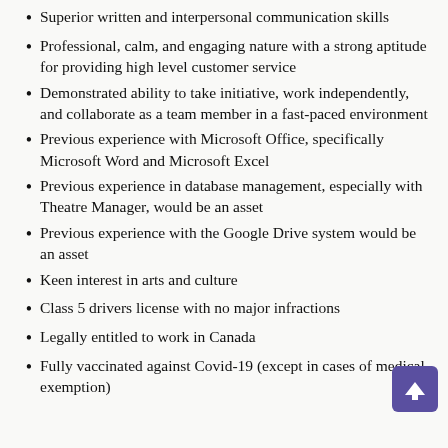Superior written and interpersonal communication skills
Professional, calm, and engaging nature with a strong aptitude for providing high level customer service
Demonstrated ability to take initiative, work independently, and collaborate as a team member in a fast-paced environment
Previous experience with Microsoft Office, specifically Microsoft Word and Microsoft Excel
Previous experience in database management, especially with Theatre Manager, would be an asset
Previous experience with the Google Drive system would be an asset
Keen interest in arts and culture
Class 5 drivers license with no major infractions
Legally entitled to work in Canada
Fully vaccinated against Covid-19 (except in cases of medical exemption)